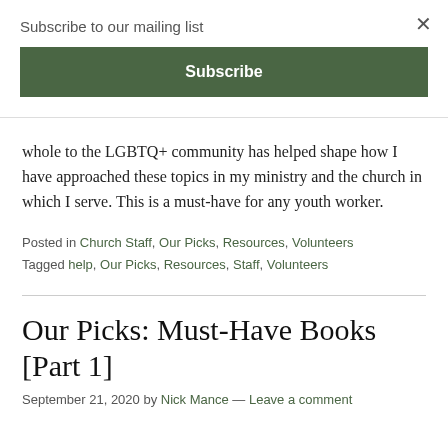Subscribe to our mailing list
Subscribe
whole to the LGBTQ+ community has helped shape how I have approached these topics in my ministry and the church in which I serve. This is a must-have for any youth worker.
Posted in Church Staff, Our Picks, Resources, Volunteers
Tagged help, Our Picks, Resources, Staff, Volunteers
Our Picks: Must-Have Books [Part 1]
September 21, 2020 by Nick Mance — Leave a comment